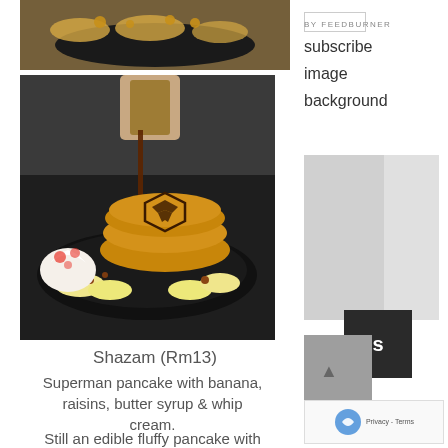[Figure (photo): Top photo showing a plate of food with banana slices and raisins on a dark plate]
[Figure (photo): Main photo showing a hand pouring syrup from a glass pitcher onto a Superman-logo pancake stack on a black plate, with whipped cream and fruit on the side]
Shazam (Rm13)
Superman pancake with banana, raisins, butter syrup & whip cream.
Still an edible fluffy pancake with
[Figure (screenshot): Right sidebar showing subscribe image background text, a sidebar image placeholder, a dark box with letter S, a gray box, and a reCAPTCHA widget with Privacy - Terms text]